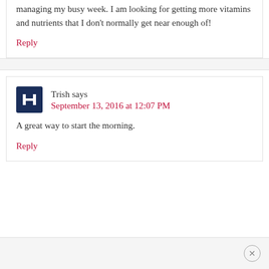managing my busy week. I am looking for getting more vitamins and nutrients that I don't normally get near enough of!
Reply
Trish says
September 13, 2016 at 12:07 PM
A great way to start the morning.
Reply